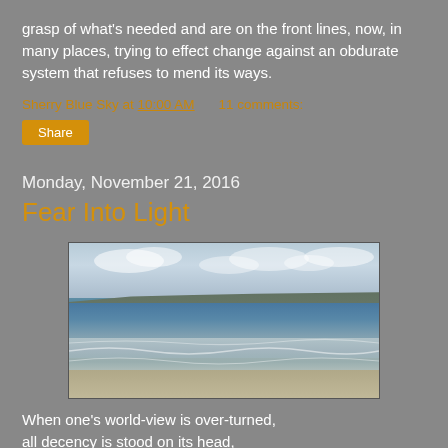grasp of what's needed and are on the front lines, now, in many places, trying to effect change against an obdurate system that refuses to mend its ways.
Sherry Blue Sky at 10:00 AM    11 comments:
Share
Monday, November 21, 2016
Fear Into Light
[Figure (photo): A panoramic beach photograph showing ocean waves, distant hills or coastline, and a cloudy sky.]
When one's world-view is over-turned,
all decency is stood on its head,